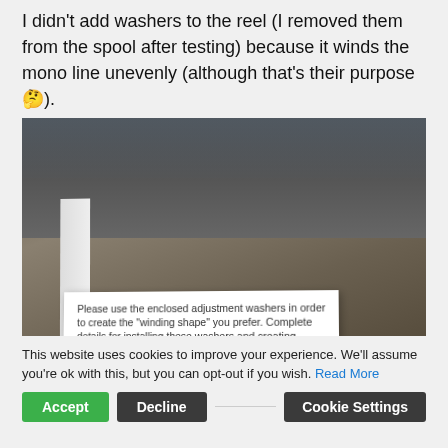I didn't add washers to the reel (I removed them from the spool after testing) because it winds the mono line unevenly (although that's their purpose 🤔).
[Figure (photo): Photo of a white folded card/brochure on a dark desk surface. The card reads: 'Please use the enclosed adjustment washers in order to create the "winding shape" you prefer. Complete details for installing these washers and creating different "winding shape" are included in the instruction manual.']
This website uses cookies to improve your experience. We'll assume you're ok with this, but you can opt-out if you wish. Read More
Accept  Decline  Cookie Settings